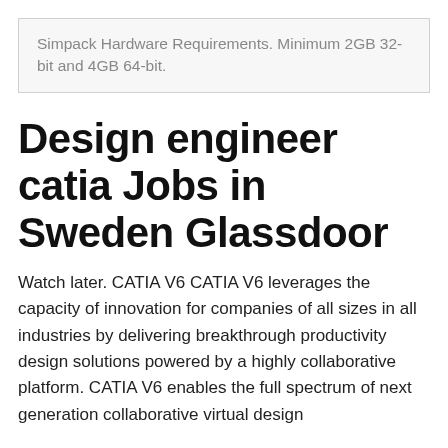Simpack Hardware Requirements. Minimum 2GB 32-bit and 4GB 64-bit.
Design engineer catia Jobs in Sweden Glassdoor
Watch later. CATIA V6 CATIA V6 leverages the capacity of innovation for companies of all sizes in all industries by delivering breakthrough productivity design solutions powered by a highly collaborative platform. CATIA V6 enables the full spectrum of next generation collaborative virtual design